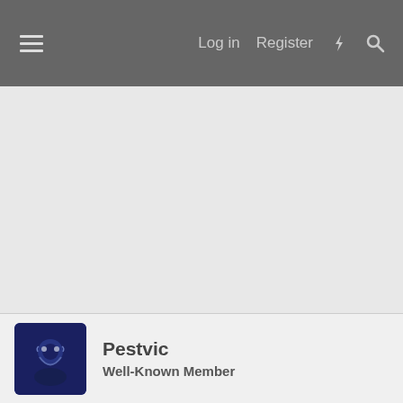Log in  Register
[Figure (photo): Large grey/light grey empty content area below navigation bar]
Pestvic
Well-Known Member